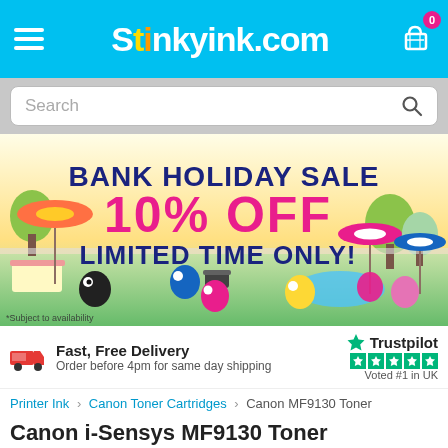StinkyInk.com
[Figure (screenshot): Bank Holiday Sale banner: '10% OFF LIMITED TIME ONLY!' with cartoon ink characters at a summer barbecue/pool scene. *Subject to availability]
Fast, Free Delivery
Order before 4pm for same day shipping
[Figure (logo): Trustpilot logo with 5 green stars. Voted #1 in UK]
Printer Ink > Canon Toner Cartridges > Canon MF9130 Toner
Canon i-Sensys MF9130 Toner